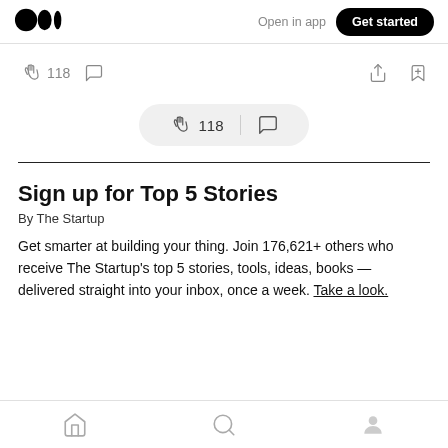Medium logo | Open in app | Get started
[Figure (screenshot): Action bar with clapping hands icon, 118 count, comment icon, share icon, bookmark icon]
[Figure (screenshot): Pill-shaped bar with clapping hands icon, 118 count, divider, comment icon]
Sign up for Top 5 Stories
By The Startup
Get smarter at building your thing. Join 176,621+ others who receive The Startup's top 5 stories, tools, ideas, books — delivered straight into your inbox, once a week. Take a look.
Home | Search | Profile icons